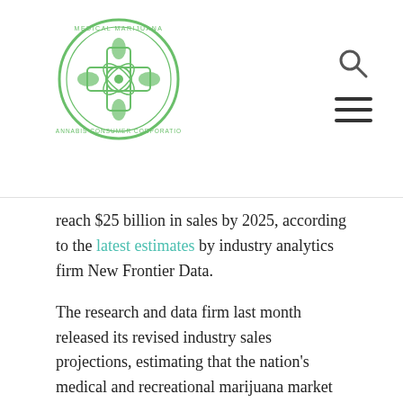[Figure (logo): Medical Marijuana Inc. circular logo with green border and medical/cannabis imagery]
reach $25 billion in sales by 2025, according to the latest estimates by industry analytics firm New Frontier Data.
The research and data firm last month released its revised industry sales projections, estimating that the nation's medical and recreational marijuana market is currently worth $8.3 billion that it will grow at a compound annual growth rate (CAGR) of 14.7 percent to reach $25 billion in seven years time.
“Across the globe, we have seen massive expansion as more than 50 countries are legalizing or decriminalizing cannabis. However, the United States continues to lead the way in cannabis